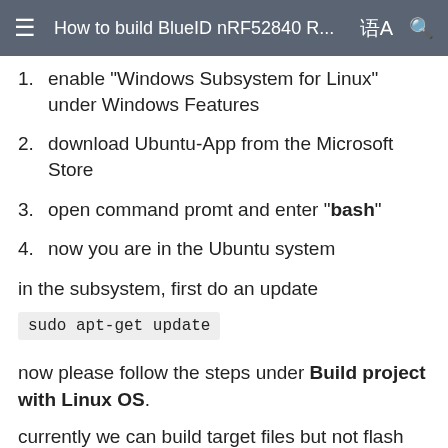How to build BlueID nRF52840 R...
enable "Windows Subsystem for Linux" under Windows Features
download Ubuntu-App from the Microsoft Store
open command promt and enter "bash"
now you are in the Ubuntu system
in the subsystem, first do an update
sudo apt-get update
now please follow the steps under Build project with Linux OS.
currently we can build target files but not flash them on the chip out of the Linux subsystem.\ For flashing a device you can use the nRF Connect for Desktop tool with your